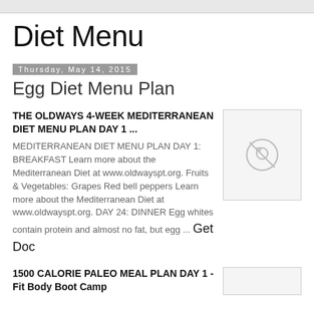Diet Menu
Thursday, May 14, 2015
Egg Diet Menu Plan
THE OLDWAYS 4-WEEK MEDITERRANEAN DIET MENU PLAN DAY 1 ...
MEDITERRANEAN DIET MENU PLAN DAY 1: BREAKFAST Learn more about the Mediterranean Diet at www.oldwayspt.org. Fruits & Vegetables: Grapes Red bell peppers Learn more about the Mediterranean Diet at www.oldwayspt.org. DAY 24: DINNER Egg whites contain protein and almost no fat, but egg ... Get Doc
[Figure (photo): Placeholder image with camera icon]
1500 CALORIE PALEO MEAL PLAN DAY 1 - Fit Body Boot Camp
[Figure (photo): Placeholder image thumbnail]